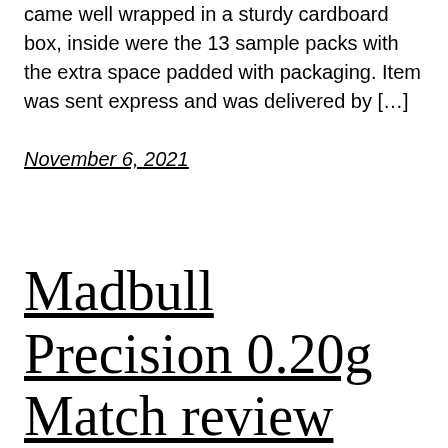came well wrapped in a sturdy cardboard box, inside were the 13 sample packs with the extra space padded with packaging. Item was sent express and was delivered by […]
November 6, 2021
Madbull Precision 0.20g Match review